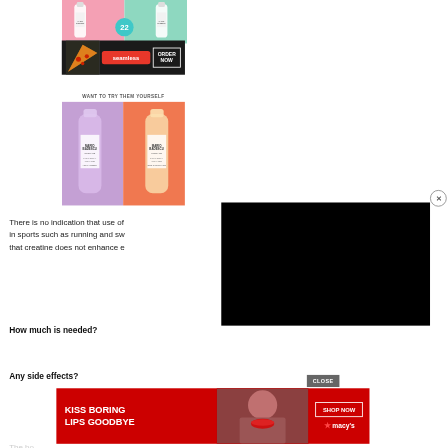[Figure (photo): Mario Badescu skincare product bottles on colorful pastel background (pink and green), with number 22 badge]
[Figure (photo): Seamless food delivery advertisement banner with pizza image, red Seamless logo, and ORDER NOW button on dark background]
[Figure (photo): WANT TO TRY THEM YOURSELF text overlay on Mario Badescu product image]
[Figure (photo): Mario Badescu facial spray bottles on purple and orange background]
There is no indication that use of creatine in sports such as running and swimming, and that creatine does not enhance endurance
How much is needed?
Any side effects?
[Figure (screenshot): Black video player overlay covering right portion of page]
[Figure (photo): CLOSE button and Macy's advertisement: KISS BORING LIPS GOODBYE with SHOP NOW button and Macy's logo on red background]
The bo